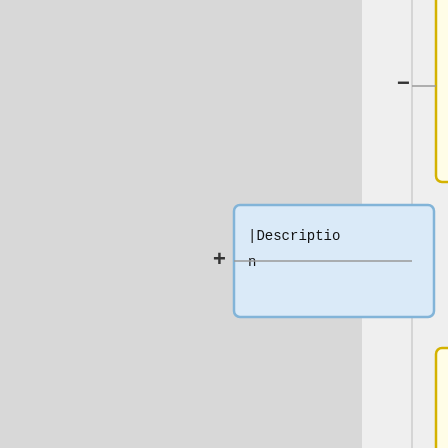[Figure (flowchart): A flowchart/diff view showing yellow boxes on the left side with code/text content connected by minus signs, and blue boxes on the right side connected by plus signs. Yellow boxes contain: '|import Loot releases to MusicBrainz', '|Add a button to import Loot.co.za releases to MusicBrainz', '|style="background:#F8CEA3;"|MusicBrainz'. Blue boxes contain: '|Description', '|Author(s)', '|style="background:#6f...'.]